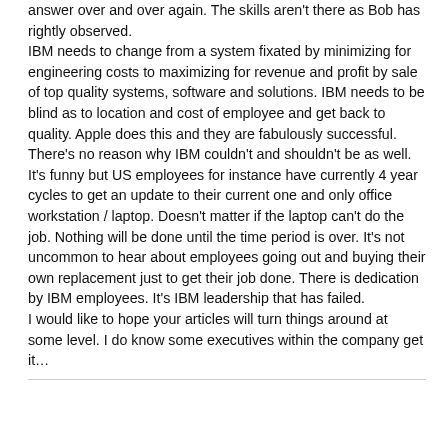answer over and over again. The skills aren't there as Bob has rightly observed.
IBM needs to change from a system fixated by minimizing for engineering costs to maximizing for revenue and profit by sale of top quality systems, software and solutions. IBM needs to be blind as to location and cost of employee and get back to quality. Apple does this and they are fabulously successful. There's no reason why IBM couldn't and shouldn't be as well.
It's funny but US employees for instance have currently 4 year cycles to get an update to their current one and only office workstation / laptop. Doesn't matter if the laptop can't do the job. Nothing will be done until the time period is over. It's not uncommon to hear about employees going out and buying their own replacement just to get their job done. There is dedication by IBM employees. It's IBM leadership that has failed.
I would like to hope your articles will turn things around at some level. I do know some executives within the company get it…